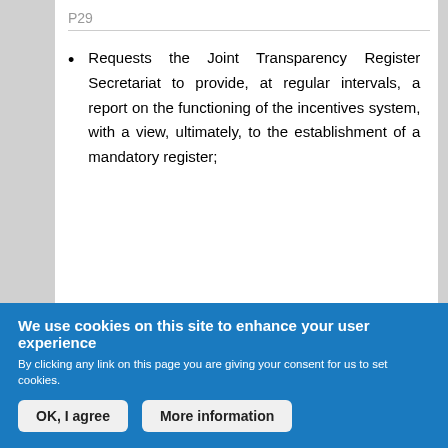P29
Requests the Joint Transparency Register Secretariat to provide, at regular intervals, a report on the functioning of the incentives system, with a view, ultimately, to the establishment of a mandatory register;
[Figure (infographic): Share icon (social share symbol in blue)]
[Figure (infographic): Thumbs up (green) and thumbs down (red/orange) icons with a green vote bar showing 10 votes, and Add/View comment (1) link with avatar icon]
We use cookies on this site to enhance your user experience
By clicking any link on this page you are giving your consent for us to set cookies.
OK, I agree
More information